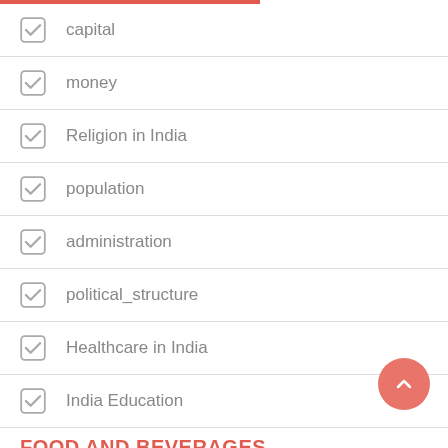capital
money
Religion in India
population
administration
political_structure
Healthcare in India
India Education
FOOD AND BEVERAGES
Indian food